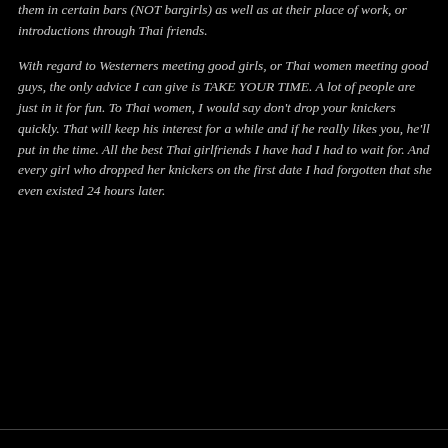them in certain bars (NOT bargirls) as well as at their place of work, or introductions through Thai friends.
With regard to Westerners meeting good girls, or Thai women meeting good guys, the only advice I can give is TAKE YOUR TIME. A lot of people are just in it for fun. To Thai women, I would say don't drop your knickers quickly. That will keep his interest for a while and if he really likes you, he'll put in the time. All the best Thai girlfriends I have had I had to wait for. And every girl who dropped her knickers on the first date I had forgotten that she even existed 24 hours later.